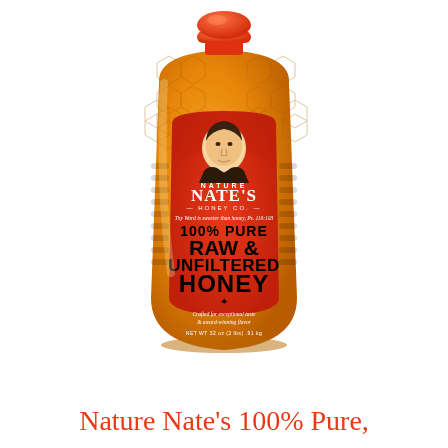[Figure (illustration): A large plastic squeeze bottle of Nature Nate's 100% Pure Raw & Unfiltered Honey. The bottle has a honeycomb texture pattern, an orange/red cap, and a red label featuring a man's portrait illustration, the brand name 'NATE'S HONEY CO.', with text reading '100% PURE RAW & UNFILTERED HONEY', a bee icon, and subtext 'Crafted for exceptional taste & award-winning flavor'. Bottom of label reads 'NET WT 32 oz (2 lbs) .91 kg'.]
Nature Nate's 100% Pure,